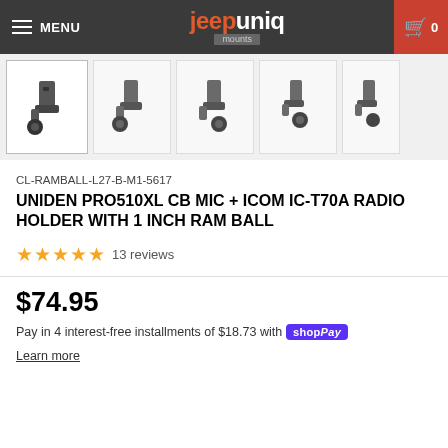MENU | jeepuniq mounts | Cart 0
[Figure (photo): Five thumbnail images of a CB mic and radio holder mount with 1 inch RAM ball, shown from various angles]
CL-RAMBALL-L27-B-M1-5617
UNIDEN PRO510XL CB MIC + ICOM IC-T70A RADIO HOLDER WITH 1 INCH RAM BALL
★★★★★ 13 reviews
$74.95
Pay in 4 interest-free installments of $18.73 with Shop Pay
Learn more